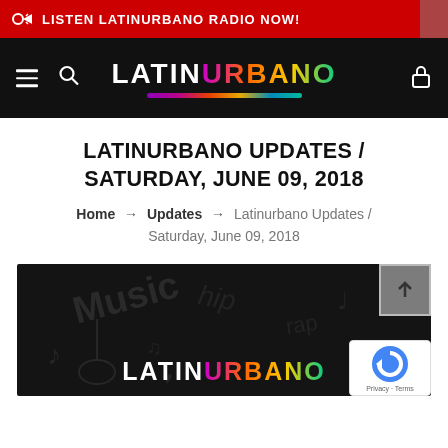LISTEN LATINURBANO RADIO NOW!
[Figure (logo): LATINURBANO website header logo on black background with colorful gradient underline, hamburger menu icon, search icon, and lock icon]
LATINURBANO UPDATES / SATURDAY, JUNE 09, 2018
Home → Updates → Latinurbano Updates / Saturday, June 09, 2018
[Figure (photo): Dark background with faint music-themed doodles (notes, guitar, text) and large LATINURBANO logo in white and gradient colors at bottom center. Scroll-up button and reCAPTCHA badge overlaid on right side.]